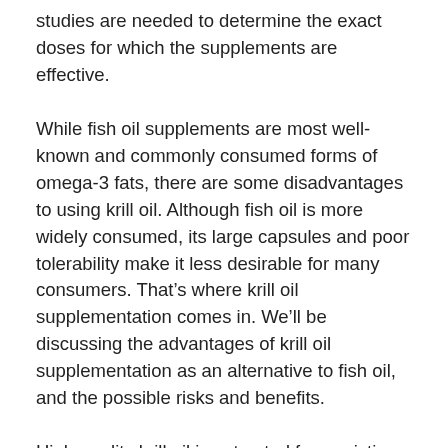studies are needed to determine the exact doses for which the supplements are effective.
While fish oil supplements are most well-known and commonly consumed forms of omega-3 fats, there are some disadvantages to using krill oil. Although fish oil is more widely consumed, its large capsules and poor tolerability make it less desirable for many consumers. That’s where krill oil supplementation comes in. We’ll be discussing the advantages of krill oil supplementation as an alternative to fish oil, and the possible risks and benefits.
High-quality krill oil is extracted from pristine waters in the Antarctic Ocean and contains highly absorbable omega-3 fatty acids. In addition to promoting brain and cardiovascular